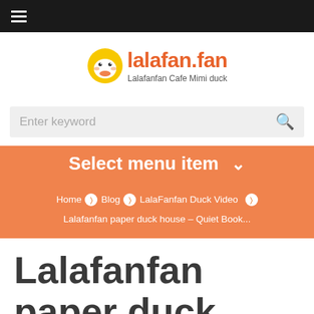≡ (hamburger menu)
[Figure (logo): Lalafanfan duck logo with orange duck icon and text lalafan.fan, subtitle: Lalafanfan Cafe Mimi duck]
Enter keyword
Select menu item
Home › Blog › LalaFanfan Duck Video › Lalafanfan paper duck house – Quiet Book...
Lalafanfan paper duck house – Quiet